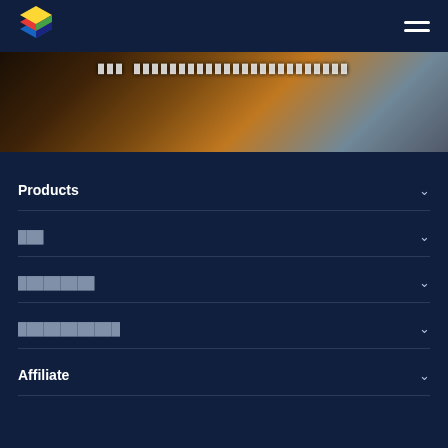[Figure (logo): Colorful layered cube logo (BlueStacks-style) in top-left of navigation bar]
[Figure (photo): Hero banner showing a dark background with water/ocean and some railing, with garbled text overlay]
Products
███
█████████
████████████
Affiliate